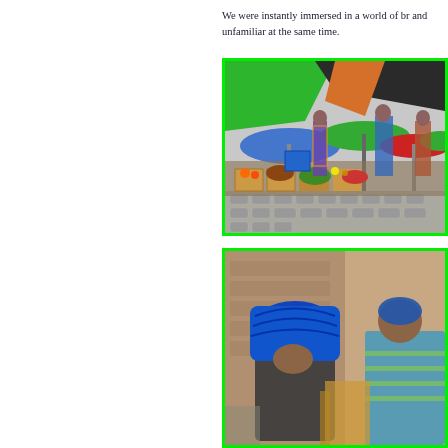We were instantly immersed in a world of br... and unfamiliar at the same time.
[Figure (photo): Colorful outdoor market scene with vendors in traditional clothing selling fruits and vegetables under colorful tarpaulins and umbrellas on a cobblestone street.]
[Figure (photo): Close-up of person wearing a blue head wrap/hat, with another person in green and blue clothing visible nearby, in a market setting.]